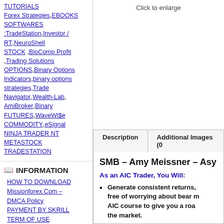TUTORIALS Forex Strategies,EBOOKS SOFTWARES :TradeStation,Investor / RT,NeuroShell STOCK ,BioComp Profit ,Trading Solutions OPTIONS,Binary Options Indicators,binary options strategies,Trade Navigator,Wealth-Lab, AmiBroker,Binary FUTURES,WaveWi$e COMMODITY,eSignal NINJA TRADER NT METASTOCK TRADESTATION
INFORMATION
HOW TO DOWNLOAD
Missionforex.Com – DMCA Policy
PAYMENT BY SKRILL
TERM OF USE AGREEMENT
ABOUT US
FEEDBACK
PAYMENT BY VISA
MASTERCARDS AND
Click to enlarge
| Description | Additional Images (0 |
| --- | --- |
SMB – Amy Meissner – Asy
As an AIC Trader, You Will:
Generate consistent returns, free of worrying about bear m AIC course to give you a roa the market.